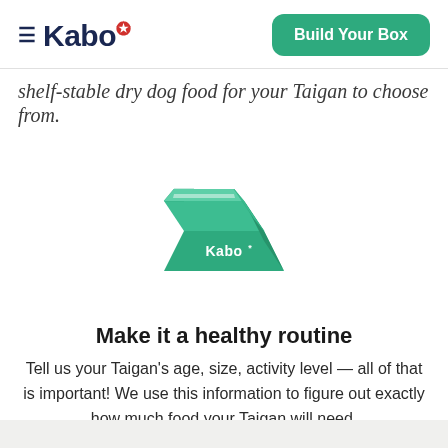Kabo* | Build Your Box
shelf-stable dry dog food for your Taigan to choose from.
[Figure (logo): Green Kabo branded box illustration, a closed cardboard box in teal/green color with 'Kabo*' text on the front face, viewed from a slight isometric angle]
Make it a healthy routine
Tell us your Taigan's age, size, activity level — all of that is important! We use this information to figure out exactly how much food your Taigan will need.